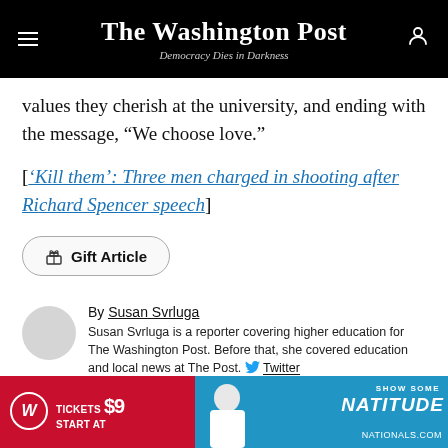The Washington Post — Democracy Dies in Darkness
values they cherish at the university, and ending with the message, “We choose love.”
[‘Kill them’: Three men charged in shooting after Richard Spencer speech]
Gift Article
By Susan Svrluga
Susan Svrluga is a reporter covering higher education for The Washington Post. Before that, she covered education and local news at The Post. Twitter
[Figure (photo): Washington Nationals advertisement: Tickets Start At $9, Show Some Natitude, Nationals.com]